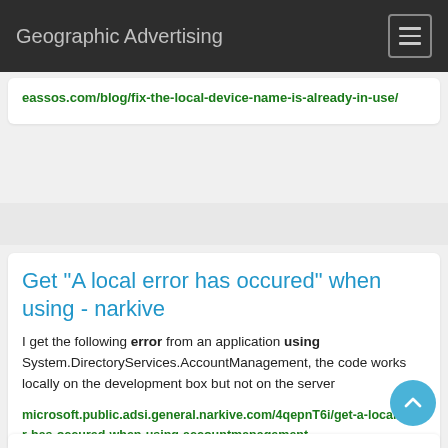Geographic Advertising
eassos.com/blog/fix-the-local-device-name-is-already-in-use/
Get "A local error has occured" when using - narkive
I get the following error from an application using System.DirectoryServices.AccountManagement, the code works locally on the development box but not on the server
microsoft.public.adsi.general.narkive.com/4qepnT6i/get-a-local-error-has-occured-when-using-accountmanagement